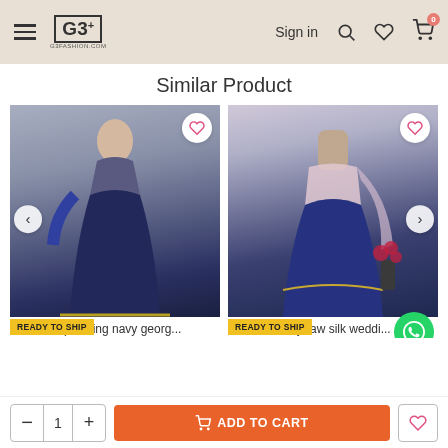G3+ G3FASHION.COM | Sign in | Search | Wishlist | Cart (0)
Similar Product
[Figure (photo): Navy georgette lehenga worn by a model, with 'READY TO SHIP' badge, heart/wishlist icon at top-right]
Captivating navy georg...
[Figure (photo): Navy raw silk wedding gown on a mannequin with pink dupatta, floral decoration in background, 'READY TO SHIP' badge, heart/wishlist icon at top-right]
Navy raw silk weddi...